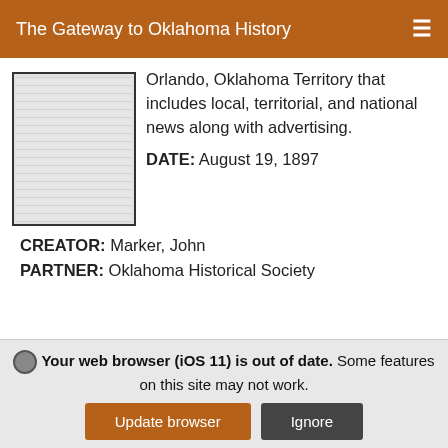The Gateway to Oklahoma History
Orlando, Oklahoma Territory that includes local, territorial, and national news along with advertising.
DATE: August 19, 1897
CREATOR: Marker, John
PARTNER: Oklahoma Historical Society
[Figure (photo): Thumbnail image of a newspaper page - first item]
[Figure (photo): Thumbnail image of a newspaper page - second item]
The Mulhall Enterprise. (Mulhall, Okla. Terr.), Vol. 4, No. 21, Ed. 1 Saturday, June 19, 1897
Your web browser (iOS 11) is out of date. Some features on this site may not work.